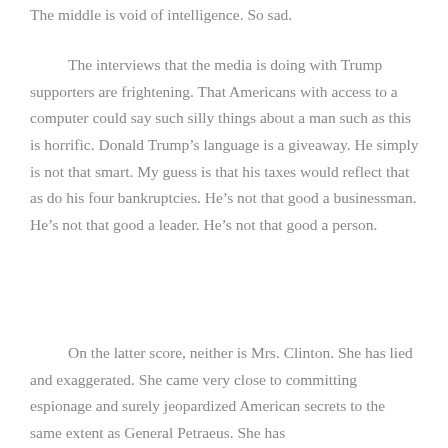The middle is void of intelligence. So sad.
The interviews that the media is doing with Trump supporters are frightening. That Americans with access to a computer could say such silly things about a man such as this is horrific. Donald Trump’s language is a giveaway. He simply is not that smart. My guess is that his taxes would reflect that as do his four bankruptcies. He’s not that good a businessman. He’s not that good a leader. He’s not that good a person.
On the latter score, neither is Mrs. Clinton. She has lied and exaggerated. She came very close to committing espionage and surely jeopardized American secrets to the same extent as General Petraeus. She has